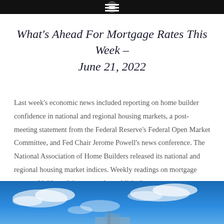What's Ahead For Mortgage Rates This Week – June 21, 2022
Last week's economic news included reporting on home builder confidence in national and regional housing markets, a post-meeting statement from the Federal Reserve's Federal Open Market Committee, and Fed Chair Jerome Powell's news conference. The National Association of Home Builders released its national and regional housing market indices. Weekly readings on mortgage rates and jobless claims were also published.
[Figure (photo): Blue sky with white clouds, partial view of a building or structure at the bottom]